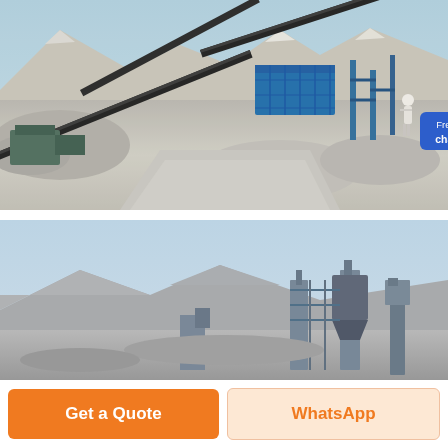[Figure (photo): Aerial view of a large quarry/mining site with conveyor belt systems, blue metal structures, stone crushing equipment, gravel piles, and a person in white standing near a 'Free chat' button badge. Industrial mining facility with mountains and sky in background.]
[Figure (photo): Second photo of a quarry/mining facility showing industrial crushing and screening equipment against a backdrop of mountains and clear blue sky.]
Free chat
Get a Quote
WhatsApp